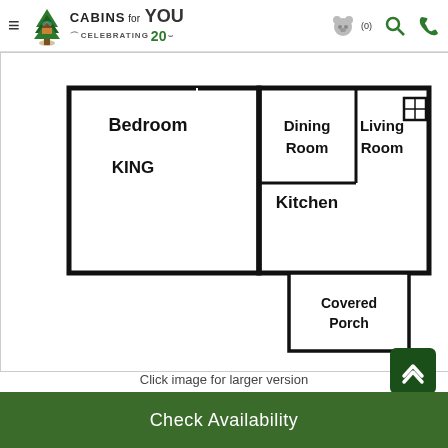Cabins for You — Celebrating 20 years
[Figure (schematic): Floor plan showing: Bedroom (KING), Dining Room, Living Room, Kitchen, Covered Porch]
Click image for larger version
3D Virtual Tour
Check Availability